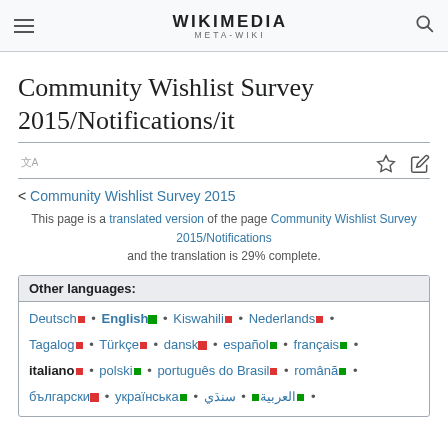WIKIMEDIA META-WIKI
Community Wishlist Survey 2015/Notifications/it
< Community Wishlist Survey 2015
This page is a translated version of the page Community Wishlist Survey 2015/Notifications and the translation is 29% complete.
Other languages:
Deutsch • English • Kiswahili • Nederlands • Tagalog • Türkçe • dansk • español • français • italiano • polski • português do Brasil • română • български • українська • العربية • سنڌي •